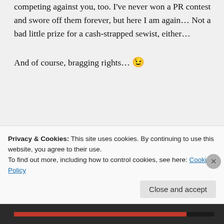competing against you, too. I've never won a PR contest and swore off them forever, but here I am again… Not a bad little prize for a cash-strapped sewist, either…

And of course, bragging rights… 😉
↪ Reply
Privacy & Cookies: This site uses cookies. By continuing to use this website, you agree to their use.
To find out more, including how to control cookies, see here: Cookie Policy
Close and accept